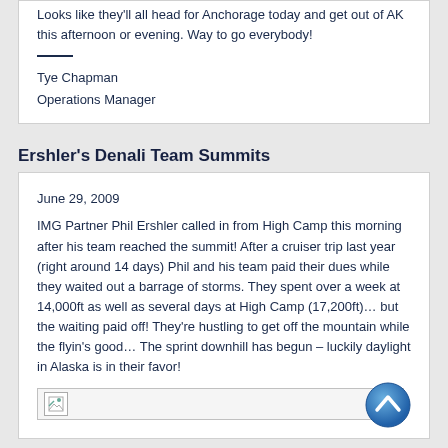Looks like they'll all head for Anchorage today and get out of AK this afternoon or evening. Way to go everybody!
Tye Chapman
Operations Manager
Ershler's Denali Team Summits
June 29, 2009
IMG Partner Phil Ershler called in from High Camp this morning after his team reached the summit! After a cruiser trip last year (right around 14 days) Phil and his team paid their dues while they waited out a barrage of storms. They spent over a week at 14,000ft as well as several days at High Camp (17,200ft)… but the waiting paid off! They're hustling to get off the mountain while the flyin's good… The sprint downhill has begun – luckily daylight in Alaska is in their favor!
[Figure (photo): Broken/missing image placeholder]